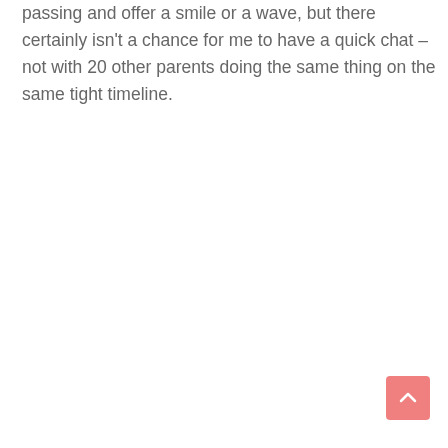passing and offer a smile or a wave, but there certainly isn't a chance for me to have a quick chat – not with 20 other parents doing the same thing on the same tight timeline.
[Figure (other): Scroll-to-top button: a salmon/coral pink rounded square button with an upward-pointing chevron/caret arrow in white, positioned in the bottom-right corner of the page.]